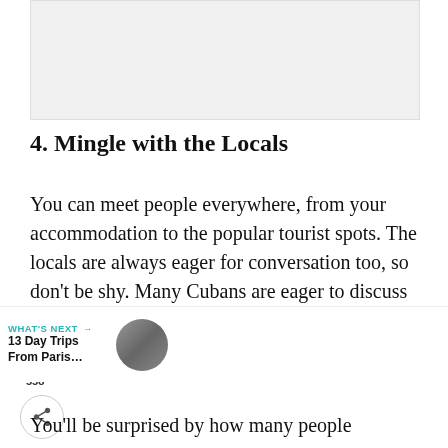[Figure (photo): Light grey placeholder image area at the top of the page]
4. Mingle with the Locals
You can meet people everywhere, from your accommodation to the popular tourist spots. The locals are always eager for conversation too, so don't be shy. Many Cubans are eager to discuss the outside world, talk about the latest technology trends and of course, baseball.
You'll be surprised by how many people you meet that are up on the latest news...